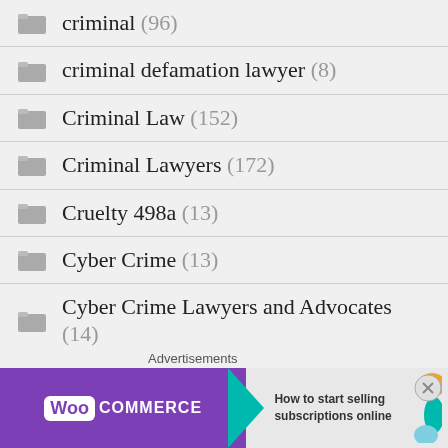criminal (96)
criminal defamation lawyer (8)
Criminal Law (152)
Criminal Lawyers (172)
Cruelty 498a (13)
Cyber Crime (13)
Cyber Crime Lawyers and Advocates (14)
Cyber Fraud (14)
[Figure (screenshot): WooCommerce advertisement banner with text 'How to start selling subscriptions online']